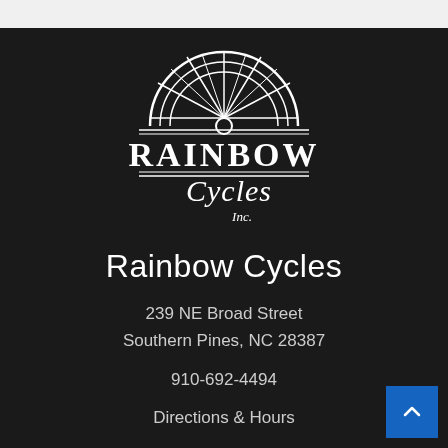[Figure (logo): Rainbow Cycles Inc. logo: a bicycle wheel (half circle) above the text RAINBOW in serif capitals with two horizontal lines, then Cycles in script lettering, and Inc. in small script below, all in white on dark background.]
Rainbow Cycles
239 NE Broad Street
Southern Pines, NC 28387
910-692-4494
Directions & Hours